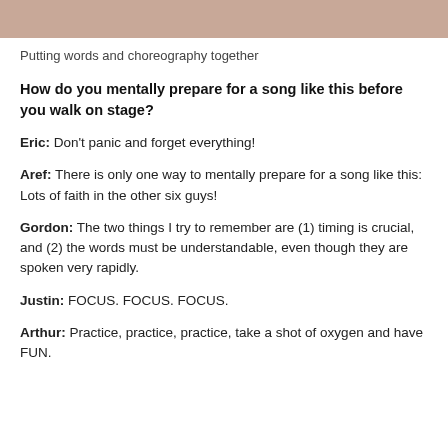[Figure (photo): Top portion of a photograph showing a skin-toned background, partially cropped at the top of the page.]
Putting words and choreography together
How do you mentally prepare for a song like this before you walk on stage?
Eric: Don't panic and forget everything!
Aref: There is only one way to mentally prepare for a song like this: Lots of faith in the other six guys!
Gordon: The two things I try to remember are (1) timing is crucial, and (2) the words must be understandable, even though they are spoken very rapidly.
Justin: FOCUS. FOCUS. FOCUS.
Arthur: Practice, practice, practice, take a shot of oxygen and have FUN.